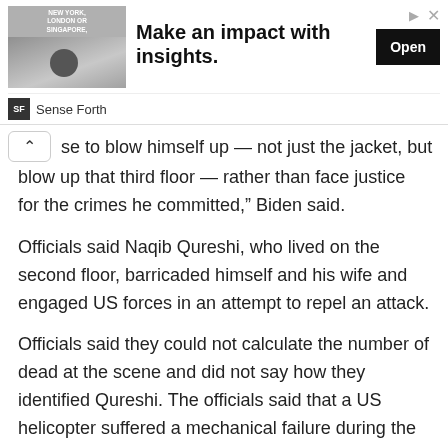[Figure (other): Advertisement banner for 'Sense Forth' with image of a person, text 'NEW YORK, LONDON OR SINGAPORE,' headline 'Make an impact with insights.' and an 'Open' button]
se to blow himself up — not just the jacket, but blow up that third floor — rather than face justice for the crimes he committed,” Biden said.
Officials said Naqib Qureshi, who lived on the second floor, barricaded himself and his wife and engaged US forces in an attempt to repel an attack.
Officials said they could not calculate the number of dead at the scene and did not say how they identified Qureshi. The officials said that a US helicopter suffered a mechanical failure during the operation and was ejected from the site before being destroyed